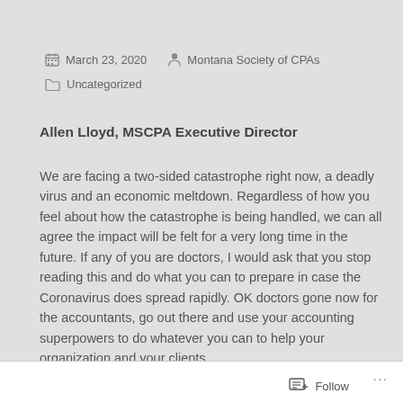March 23, 2020   Montana Society of CPAs   Uncategorized
Allen Lloyd, MSCPA Executive Director
We are facing a two-sided catastrophe right now, a deadly virus and an economic meltdown.  Regardless of how you feel about how the catastrophe is being handled, we can all agree the impact will be felt for a very long time in the future.  If any of you are doctors, I would ask that you stop reading this and do what you can to prepare in case the Coronavirus does spread rapidly.  OK doctors gone now for the accountants, go out there and use your accounting superpowers to do whatever you can to help your organization and your clients.
Follow ...